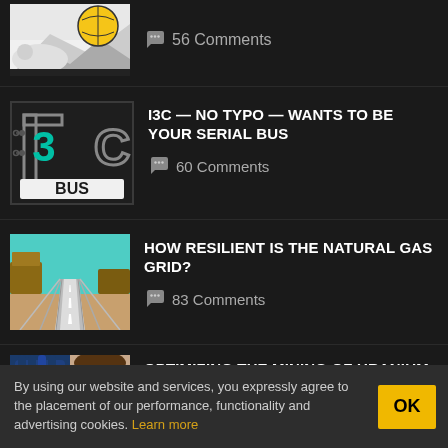[Figure (illustration): Partial article thumbnail showing cartoon-style illustration cropped at top]
56 Comments
[Figure (logo): I3C BUS logo — circuit board style graphic with teal 3 and C letters, BUS text at bottom on dark background]
I3C — NO TYPO — WANTS TO BE YOUR SERIAL BUS
60 Comments
[Figure (illustration): Illustration of a highway road receding into desert landscape with mesas]
HOW RESILIENT IS THE NATURAL GAS GRID?
83 Comments
[Figure (photo): Partial photo showing person with blue gloves handling laboratory equipment]
OPTIMIZING THE MINING OF URANIUM FROM COAL ASH AND SEAWATER
By using our website and services, you expressly agree to the placement of our performance, functionality and advertising cookies. Learn more
OK